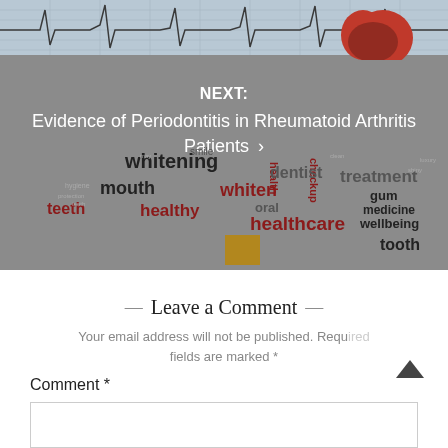[Figure (photo): Banner image showing ECG graph lines at top with a red apple, overlaid with a dental word cloud (smile, whitening, dentist, treatment, gum, mouth, whiten, healthcare, oral, medicine, teeth, healthy, wellbeing, tooth, etc.) on a gray background. Text overlay reads NEXT: Evidence of Periodontitis in Rheumatoid Arthritis Patients with a right arrow.]
— Leave a Comment —
Your email address will not be published. Required fields are marked *
Comment *